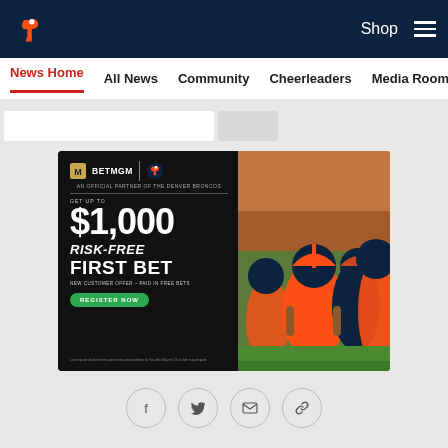Denver Broncos website header with logo, Shop link, and hamburger menu
News Home | All News | Community | Cheerleaders | Media Room
[Figure (screenshot): BetMGM advertisement banner: $1,000 Risk-Free First Bet. New Customer Offer - Paid in Free Bets. Register Now. Shows Denver Broncos players in orange helmets on the right side.]
[Figure (infographic): Social share icons: Facebook, Twitter, Email, Link]